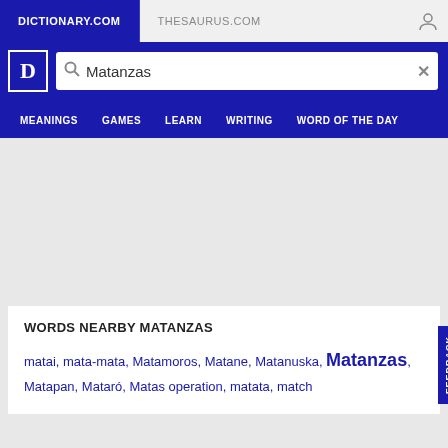DICTIONARY.COM   THESAURUS.COM
[Figure (screenshot): Dictionary.com logo: white D letter in bordered box on blue background]
Matanzas
MEANINGS   GAMES   LEARN   WRITING   WORD OF THE DAY
WORDS NEARBY MATANZAS
matai, mata-mata, Matamoros, Matane, Matanuska, Matanzas, Matapan, Mataró, Matas operation, matata, match